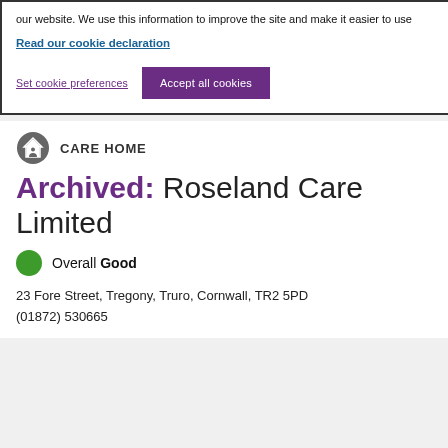our website. We use this information to improve the site and make it easier to use
Read our cookie declaration
Set cookie preferences
Accept all cookies
CARE HOME
Archived: Roseland Care Limited
Overall Good
23 Fore Street, Tregony, Truro, Cornwall, TR2 5PD
(01872) 530665